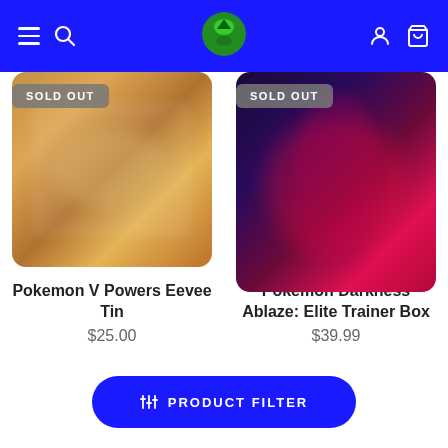Navigation header with hamburger menu, search, logo, user icon, cart icon on blue background
[Figure (photo): Pokemon V Powers Eevee Tin product image, blurred, orange background, with SOLD OUT badge]
SOLD OUT
Pokemon V Powers Eevee Tin
$25.00
[Figure (photo): Pokemon Darkness Ablaze Elite Trainer Box product image, blurred, dark purple and pink/red background, with SOLD OUT badge]
SOLD OUT
Pokemon Darkness Ablaze: Elite Trainer Box
$39.99
PRODUCT FILTER